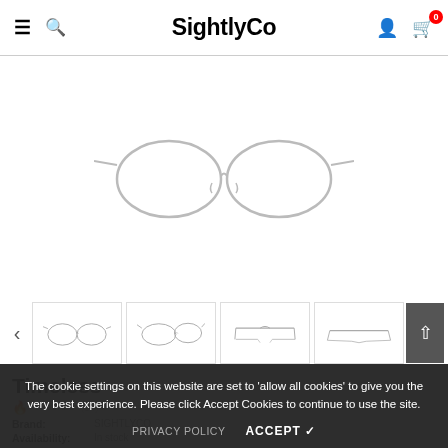SightlyCo — navigation header with hamburger menu, search, user icon, cart (0)
[Figure (photo): Product image area — white background showing metal wire-frame eyeglasses (Timeless model) from the front, displayed in the main product viewer]
[Figure (photo): Thumbnail carousel showing four views of metal wire-frame eyeglasses: front view, three-quarter view, side frame view, and back/folded view. A dark selected arrow/next button appears on the right.]
Timeless
Brand: SIGHTLYCO
Availability: In stock
The cookie settings on this website are set to 'allow all cookies' to give you the very best experience. Please click Accept Cookies to continue to use the site.
PRIVACY POLICY    ACCEPT ✔